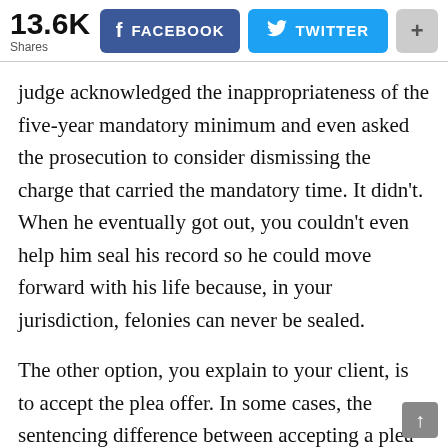13.6K Shares | FACEBOOK | TWITTER | +
judge acknowledged the inappropriateness of the five-year mandatory minimum and even asked the prosecution to consider dismissing the charge that carried the mandatory time. It didn't. When he eventually got out, you couldn't even help him seal his record so he could move forward with his life because, in your jurisdiction, felonies can never be sealed.
The other option, you explain to your client, is to accept the plea offer. In some cases, the sentencing difference between accepting a plea and losing at trial can be a matter of decades. It's no wonder 95 percent